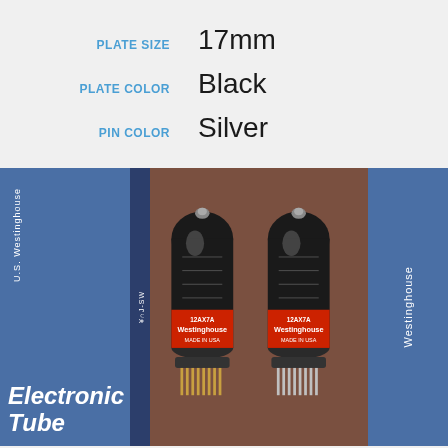| Attribute | Value |
| --- | --- |
| PLATE SIZE | 17mm |
| PLATE COLOR | Black |
| PIN COLOR | Silver |
[Figure (photo): Two Westinghouse electronic vacuum tubes (12AX7A or similar) with black plates and silver pins, standing upright on a brown textured surface, flanked by blue Westinghouse Electronic Tube boxes on both sides.]